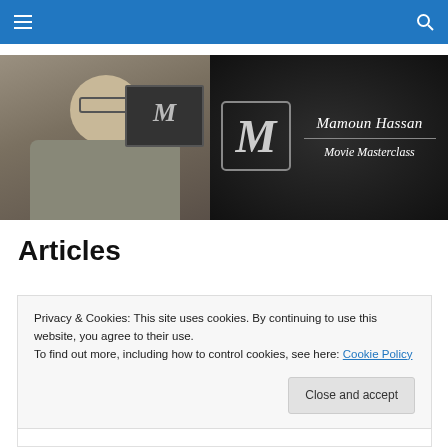[Navigation bar with hamburger menu and search icon]
[Figure (photo): Banner image showing Mamoun Hassan Movie Masterclass. Left side: photo of a man with glasses and white beard sitting in front of a monitor with an M logo. Right side: dark textured background with cursive text 'Mamoun Hassan' above a divider line and 'Movie Masterclass' below.]
Articles
[Figure (photo): Partial image strip visible behind cookie banner, appears to be a reddish/brownish photo partially obscured.]
Privacy & Cookies: This site uses cookies. By continuing to use this website, you agree to their use.
To find out more, including how to control cookies, see here: Cookie Policy
Close and accept